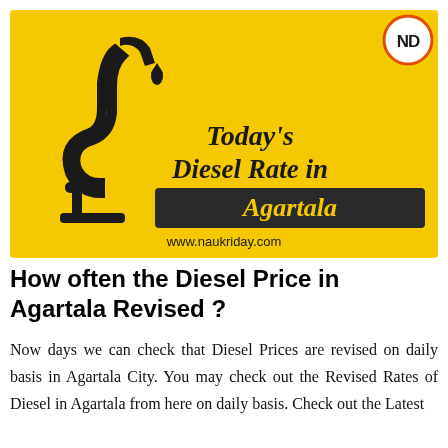[Figure (infographic): Yellow background infographic showing a fuel pump nozzle with a drop of fuel and bold text reading "Today's Diesel Rate in Agartala" on a dark banner. A logo 'ND' in a circle is in the top-right corner. Website www.naukriday.com shown at bottom.]
How often the Diesel Price in Agartala Revised ?
Now days we can check that Diesel Prices are revised on daily basis in Agartala City. You may check out the Revised Rates of Diesel in Agartala from here on daily basis. Check out the Latest